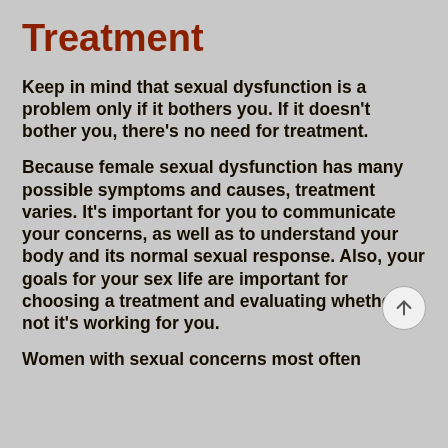Treatment
Keep in mind that sexual dysfunction is a problem only if it bothers you. If it doesn't bother you, there's no need for treatment.
Because female sexual dysfunction has many possible symptoms and causes, treatment varies. It's important for you to communicate your concerns, as well as to understand your body and its normal sexual response. Also, your goals for your sex life are important for choosing a treatment and evaluating whether or not it's working for you.
Women with sexual concerns most often